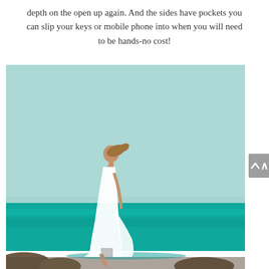depth on the open up again. And the sides have pockets you can slip your keys or mobile phone into when you will need to be hands-no cost!
[Figure (photo): A woman in a white dress standing on rocky shoreline with turquoise sea and light teal sky in the background, her hair blowing in the wind, viewed from behind.]